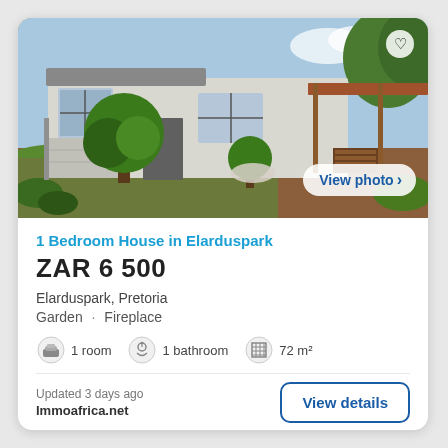[Figure (photo): Exterior photo of a single-storey house in Elarduspark with manicured round topiary trees, a white facade, and a covered patio/carport area on the right side. A 'View photo >' button overlay appears bottom-right and a heart icon top-right.]
1 Bedroom House in Elarduspark
ZAR 6 500
Elarduspark, Pretoria
Garden · Fireplace
1 room   1 bathroom   72 m²
Updated 3 days ago
Immoafrica.net